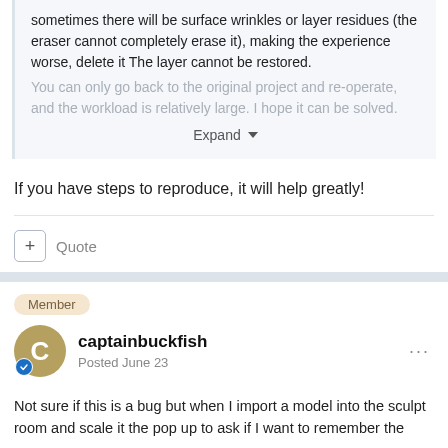sometimes there will be surface wrinkles or layer residues (the eraser cannot completely erase it), making the experience worse, delete it The layer cannot be restored. You can only go back to the original project and re-operate, and the workload is relatively large. I hope it can be solved.
Expand
If you have steps to reproduce, it will help greatly!
+ Quote
Member
captainbuckfish
Posted June 23
Not sure if this is a bug but when I import a model into the sculpt room and scale it the pop up to ask if I want to remember the